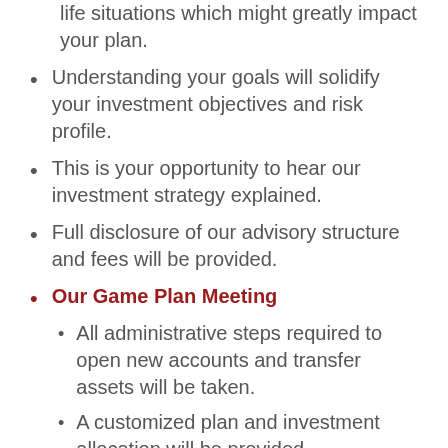life situations which might greatly impact your plan.
Understanding your goals will solidify your investment objectives and risk profile.
This is your opportunity to hear our investment strategy explained.
Full disclosure of our advisory structure and fees will be provided.
Our Game Plan Meeting
All administrative steps required to open new accounts and transfer assets will be taken.
A customized plan and investment allocation will be provided.